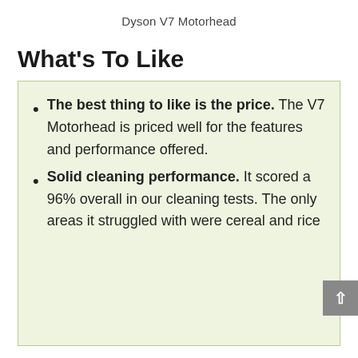Dyson V7 Motorhead
What’s To Like
The best thing to like is the price. The V7 Motorhead is priced well for the features and performance offered.
Solid cleaning performance. It scored a 96% overall in our cleaning tests. The only areas it struggled with were cereal and rice